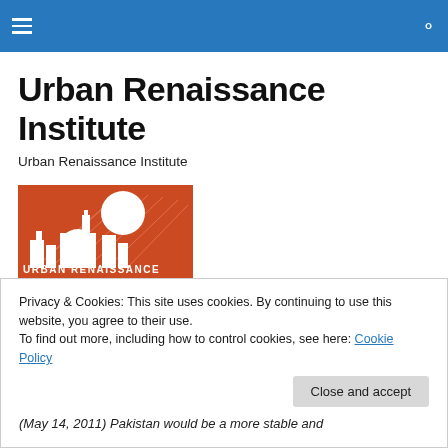Urban Renaissance Institute
Urban Renaissance Institute
Urban Renaissance Institute
[Figure (logo): Urban Renaissance Institute logo — orange/red square with white city skyline silhouette and sun rays, text URBAN RENAISSANCE INSTITUTE below]
Privacy & Cookies: This site uses cookies. By continuing to use this website, you agree to their use.
To find out more, including how to control cookies, see here: Cookie Policy
Close and accept
(May 14, 2011) Pakistan would be a more stable and